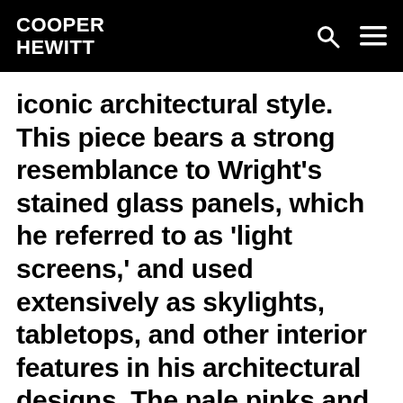COOPER HEWITT
iconic architectural style. This piece bears a strong resemblance to Wright's stained glass panels, which he referred to as 'light screens,' and used extensively as skylights, tabletops, and other interior features in his architectural designs. The pale pinks and greys in this design resemble the hues used in a skylight designed for the Willits House, built in 1901 in Glencoe, Illinois, among the first of Wright's Prairie houses. The concentric squares may reference the effect of